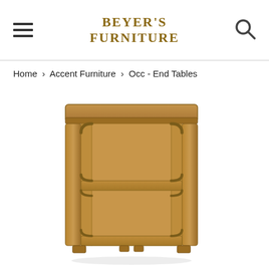Beyer's Furniture
Home > Accent Furniture > Occ - End Tables
[Figure (photo): Wooden end table with open shelving design, two shelves, rounded corner accents, light brown/natural wood finish, shown on white background.]